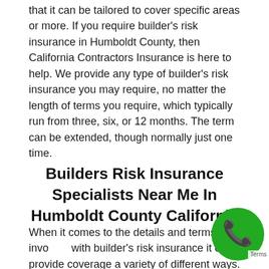that it can be tailored to cover specific areas or more. If you require builder's risk insurance in Humboldt County, then California Contractors Insurance is here to help. We provide any type of builder's risk insurance you may require, no matter the length of terms you require, which typically run from three, six, or 12 months. The term can be extended, though normally just one time.
Builders Risk Insurance Specialists Near Me In Humboldt County California
When it comes to the details and terms involved with builder's risk insurance it can provide coverage a variety of different ways. For